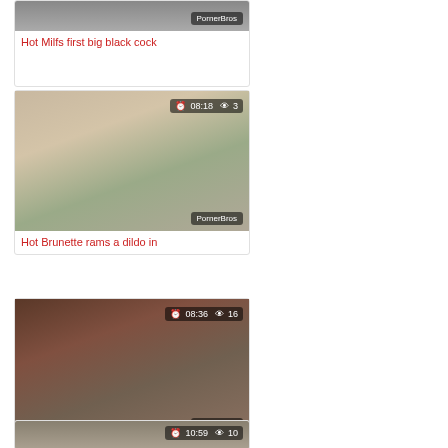[Figure (screenshot): Video thumbnail card - Hot Milfs first big black cock, duration 08:xx, partially visible at top]
Hot Milfs first big black cock
[Figure (screenshot): Video thumbnail - Hot Brunette rams a dildo in, duration 08:18, views 3, PornerBros watermark]
Hot Brunette rams a dildo in
[Figure (screenshot): Video thumbnail - Kinky Janelle Taylor loves to, duration 08:36, views 16, PornerBros watermark]
Kinky Janelle Taylor loves to
[Figure (screenshot): Video thumbnail partially visible at bottom, duration 10:59, views 10]